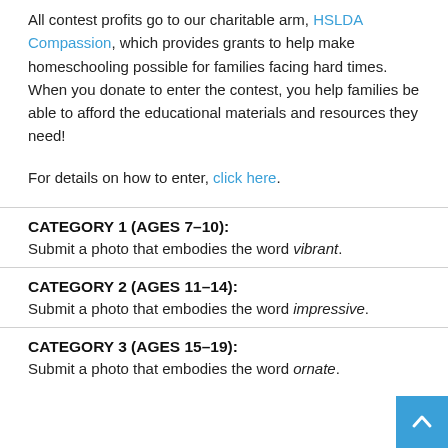All contest profits go to our charitable arm, HSLDA Compassion, which provides grants to help make homeschooling possible for families facing hard times. When you donate to enter the contest, you help families be able to afford the educational materials and resources they need!
For details on how to enter, click here.
CATEGORY 1 (AGES 7–10):
Submit a photo that embodies the word vibrant.
CATEGORY 2 (AGES 11–14):
Submit a photo that embodies the word impressive.
CATEGORY 3 (AGES 15–19):
Submit a photo that embodies the word ornate.